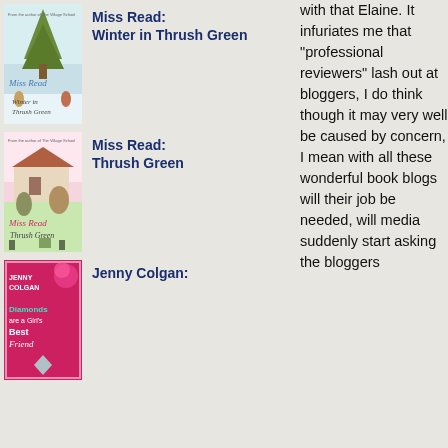[Figure (illustration): Book cover: Miss Read - Winter in Thrush Green, light blue/green snowy scene]
Miss Read: Winter in Thrush Green
[Figure (illustration): Book cover: Miss Read - Thrush Green, pink cover with village scene]
Miss Read: Thrush Green
[Figure (illustration): Book cover: Jenny Colgan - Diamonds are a Girl's Best Friend, bright pink cover]
Jenny Colgan:
with that Elaine. It infuriates me that "professional reviewers" lash out at bloggers, I do think though it may very well be caused by concern, I mean with all these wonderful book blogs will their job be needed, will media suddenly start asking the bloggers